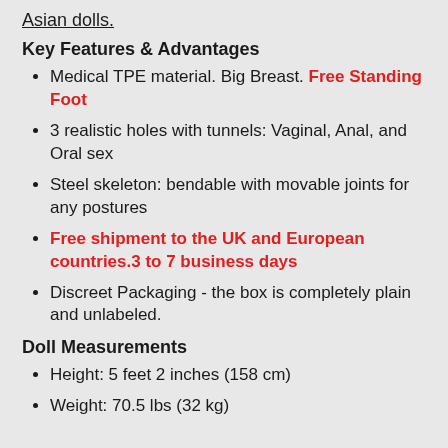Asian dolls.
Key Features & Advantages
Medical TPE material. Big Breast. Free Standing Foot
3 realistic holes with tunnels: Vaginal, Anal, and Oral sex
Steel skeleton: bendable with movable joints for any postures
Free shipment to the UK and European countries.3 to 7 business days
Discreet Packaging - the box is completely plain and unlabeled.
Doll Measurements
Height: 5 feet 2 inches (158 cm)
Weight: 70.5 lbs (32 kg)